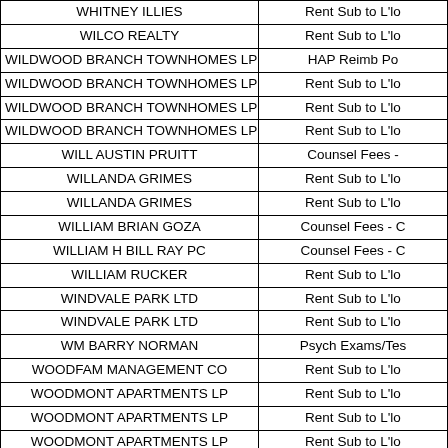| Name | Payment Type |
| --- | --- |
| WHITNEY ILLIES | Rent Sub to L'lo |
| WILCO REALTY | Rent Sub to L'lo |
| WILDWOOD BRANCH TOWNHOMES LP | HAP Reimb Po |
| WILDWOOD BRANCH TOWNHOMES LP | Rent Sub to L'lo |
| WILDWOOD BRANCH TOWNHOMES LP | Rent Sub to L'lo |
| WILDWOOD BRANCH TOWNHOMES LP | Rent Sub to L'lo |
| WILL AUSTIN PRUITT | Counsel Fees - |
| WILLANDA GRIMES | Rent Sub to L'lo |
| WILLANDA GRIMES | Rent Sub to L'lo |
| WILLIAM BRIAN GOZA | Counsel Fees - C |
| WILLIAM H BILL RAY PC | Counsel Fees - C |
| WILLIAM RUCKER | Rent Sub to L'lo |
| WINDVALE PARK LTD | Rent Sub to L'lo |
| WINDVALE PARK LTD | Rent Sub to L'lo |
| WM BARRY NORMAN | Psych Exams/Tes |
| WOODFAM MANAGEMENT CO | Rent Sub to L'lo |
| WOODMONT APARTMENTS LP | Rent Sub to L'lo |
| WOODMONT APARTMENTS LP | Rent Sub to L'lo |
| WOODMONT APARTMENTS LP | Rent Sub to L'lo |
| WOODMONT APARTMENTS LP | Rent Sub to L'lo |
| WOODMONT APARTMENTS LP | Rent Sub to L'lo |
| WOODMONT APARTMENTS LP | Rent Sub to L'lo |
| WOODWARD YOUTH CORPORATION | Medical Suppli |
| WORTHINGTON APARTMENTS LP | Rent Sub to L'lo |